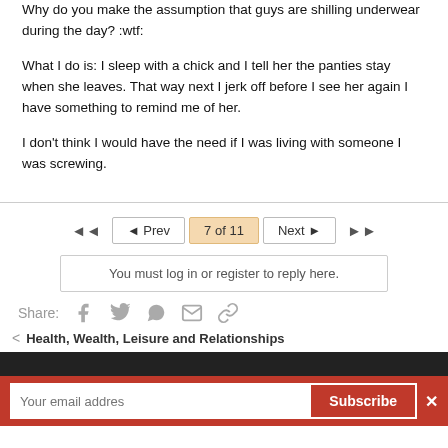Why do you make the assumption that guys are shilling underwear during the day? :wtf:
What I do is: I sleep with a chick and I tell her the panties stay when she leaves. That way next I jerk off before I see her again I have something to remind me of her.
I don't think I would have the need if I was living with someone I was screwing.
◄  ◄ Prev  7 of 11  Next ►  ►►
You must log in or register to reply here.
Share:
< Health, Wealth, Leisure and Relationships
Your email addres  Subscribe  ✕